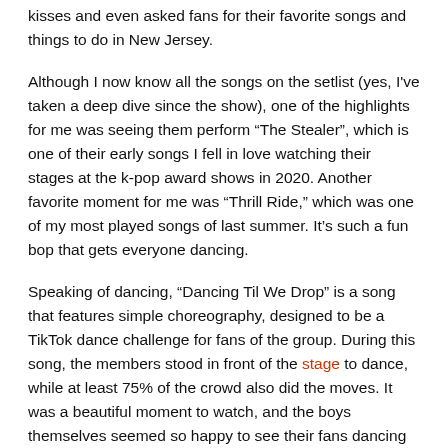kisses and even asked fans for their favorite songs and things to do in New Jersey.
Although I now know all the songs on the setlist (yes, I've taken a deep dive since the show), one of the highlights for me was seeing them perform “The Stealer”, which is one of their early songs I fell in love watching their stages at the k-pop award shows in 2020. Another favorite moment for me was “Thrill Ride,” which was one of my most played songs of last summer. It’s such a fun bop that gets everyone dancing.
Speaking of dancing, “Dancing Til We Drop” is a song that features simple choreography, designed to be a TikTok dance challenge for fans of the group. During this song, the members stood in front of the stage to dance, while at least 75% of the crowd also did the moves. It was a beautiful moment to watch, and the boys themselves seemed so happy to see their fans dancing with them.